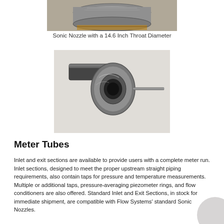[Figure (photo): Top portion of a sonic nozzle with a 14.6 inch throat diameter, metallic cylindrical component on wooden pallet]
Sonic Nozzle with a 14.6 Inch Throat Diameter
[Figure (photo): A small meter tube sonic nozzle component, cylindrical with a flanged disk and a thin rod/probe extending to the right, shown on a light background]
Meter Tubes
Inlet and exit sections are available to provide users with a complete meter run. Inlet sections, designed to meet the proper upstream straight piping requirements, also contain taps for pressure and temperature measurements. Multiple or additional taps, pressure-averaging piezometer rings, and flow conditioners are also offered. Standard Inlet and Exit Sections, in stock for immediate shipment, are compatible with Flow Systems' standard Sonic Nozzles.